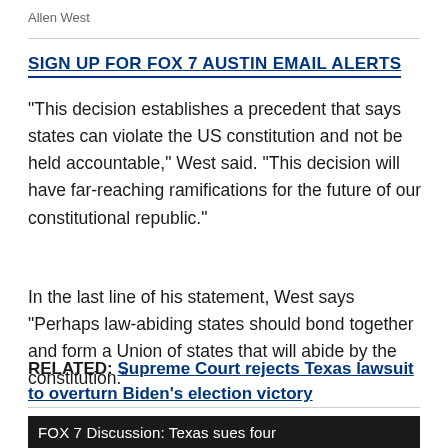Allen West
SIGN UP FOR FOX 7 AUSTIN EMAIL ALERTS
"This decision establishes a precedent that says states can violate the US constitution and not be held accountable," West said. "This decision will have far-reaching ramifications for the future of our constitutional republic."
In the last line of his statement, West says "Perhaps law-abiding states should bond together and form a Union of states that will abide by the constitution."
RELATED: Supreme Court rejects Texas lawsuit to overturn Biden's election victory
FOX 7 Discussion: Texas sues four